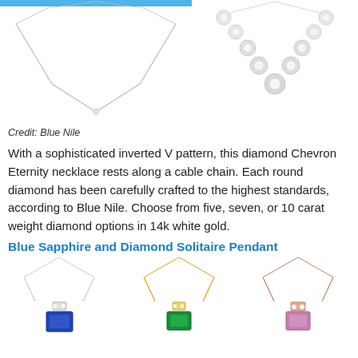[Figure (photo): Two necklace product photos side by side: left shows a delicate V-shaped chevron necklace on white background with a blue bar at top; right shows a diamond chevron eternity necklace with clustered round diamonds forming a V shape.]
Credit: Blue Nile
With a sophisticated inverted V pattern, this diamond Chevron Eternity necklace rests along a cable chain. Each round diamond has been carefully crafted to the highest standards, according to Blue Nile. Choose from five, seven, or 10 carat weight diamond options in 14k white gold.
Blue Sapphire and Diamond Solitaire Pendant
[Figure (photo): Three pendant necklace product photos side by side: left shows a blue sapphire and diamond solitaire pendant on a silver chain; center shows a green emerald and diamond pendant on a gold chain; right shows a pink/purple gemstone and diamond pendant on a rose gold chain.]